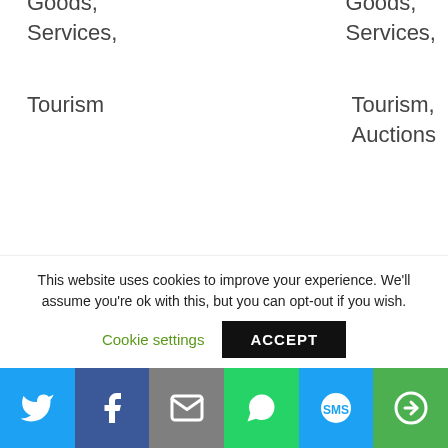Goods,
Services,
Tourism
Goods,
Services,
Tourism
Auctions
Goods,
Services,
Tourism,
Auctions,
Donations
E-mail,
This website uses cookies to improve your experience. We'll assume you're ok with this, but you can opt-out if you wish.
Cookie settings
ACCEPT